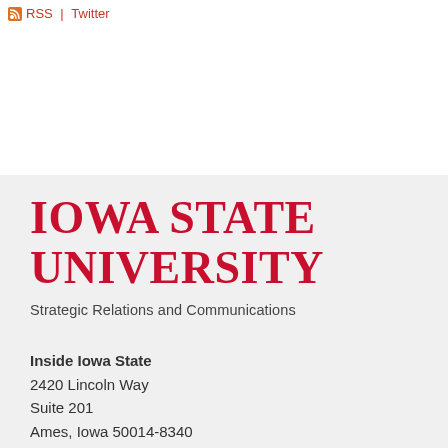RSS | Twitter
[Figure (logo): Iowa State University logo in red serif uppercase text]
Strategic Relations and Communications
Inside Iowa State
2420 Lincoln Way
Suite 201
Ames, Iowa 50014-8340

inside@iastate.edu
515-294-7958 phone